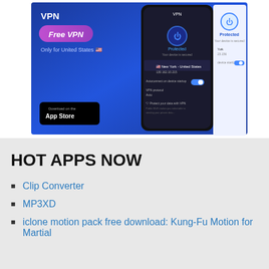[Figure (screenshot): VPN app promotional screenshot showing a smartphone displaying a VPN application with 'Free VPN' badge and 'Only for United States' text, App Store download button, and a phone screen showing 'Protected' status with New York - United States server selected]
HOT APPS NOW
Clip Converter
MP3XD
iclone motion pack free download: Kung-Fu Motion for Martial